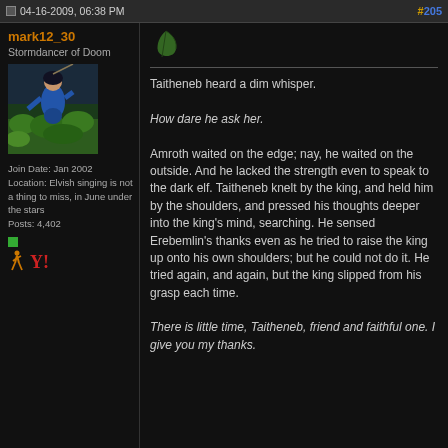04-16-2009, 06:38 PM  #205
mark12_30
Stormdancer of Doom
[Figure (photo): Avatar photo of a person in blue clothing among green plants/garden]
Join Date: Jan 2002
Location: Elvish singing is not a thing to miss, in June under the stars
Posts: 4,402
[Figure (illustration): Green leaf icon above a horizontal divider line]
Taitheneb heard a dim whisper.

How dare he ask her.

Amroth waited on the edge; nay, he waited on the outside. And he lacked the strength even to speak to the dark elf. Taitheneb knelt by the king, and held him by the shoulders, and pressed his thoughts deeper into the king's mind, searching. He sensed Erebemlin's thanks even as he tried to raise the king up onto his own shoulders; but he could not do it. He tried again, and again, but the king slipped from his grasp each time.

There is little time, Taitheneb, friend and faithful one. I give you my thanks.